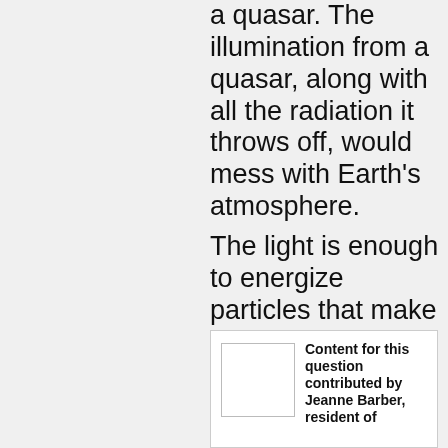a quasar. The illumination from a quasar, along with all the radiation it throws off, would mess with Earth’s atmosphere.
The light is enough to energize particles that make up the atmosphere and frees them from Earth’s gravity. And we really need our gravity. Without it, Our atmosphere would be destroyed.
[Figure (other): A white rectangle placeholder image (contributor photo) inside a card box, with contributor text to the right.]
Content for this question contributed by Jeanne Barber, resident of